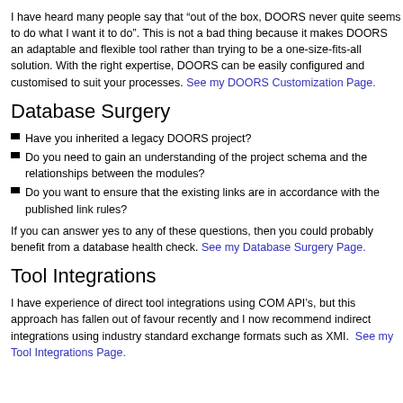I have heard many people say that “out of the box, DOORS never quite seems to do what I want it to do”. This is not a bad thing because it makes DOORS an adaptable and flexible tool rather than trying to be a one-size-fits-all solution. With the right expertise, DOORS can be easily configured and customised to suit your processes. See my DOORS Customization Page.
Database Surgery
Have you inherited a legacy DOORS project?
Do you need to gain an understanding of the project schema and the relationships between the modules?
Do you want to ensure that the existing links are in accordance with the published link rules?
If you can answer yes to any of these questions, then you could probably benefit from a database health check. See my Database Surgery Page.
Tool Integrations
I have experience of direct tool integrations using COM API’s, but this approach has fallen out of favour recently and I now recommend indirect integrations using industry standard exchange formats such as XMI.  See my Tool Integrations Page.